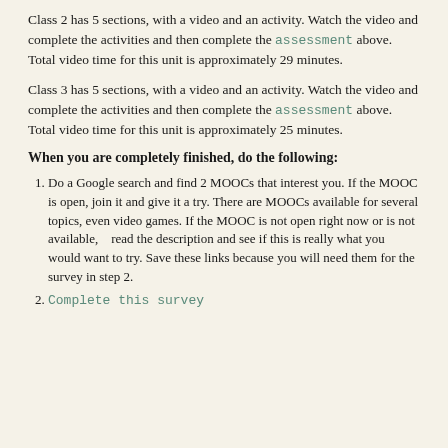Class 2 has 5 sections, with a video and an activity. Watch the video and complete the activities and then complete the assessment above. Total video time for this unit is approximately 29 minutes.
Class 3 has 5 sections, with a video and an activity. Watch the video and complete the activities and then complete the assessment above. Total video time for this unit is approximately 25 minutes.
When you are completely finished, do the following:
Do a Google search and find 2 MOOCs that interest you. If the MOOC is open, join it and give it a try. There are MOOCs available for several topics, even video games. If the MOOC is not open right now or is not available, read the description and see if this is really what you would want to try. Save these links because you will need them for the survey in step 2.
Complete this survey